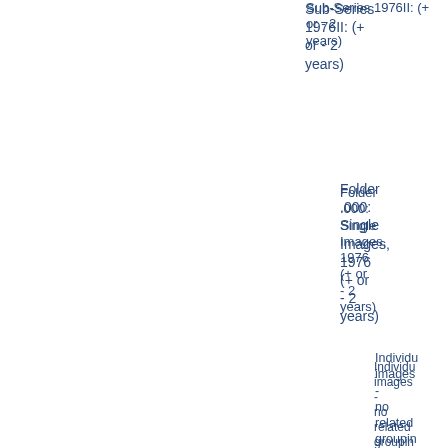Sub-Series 1976II: (+ or - 2 years)
Folder .000: Single Images, 1976 (+ or - 2 years)
Individual images - no related grouping
Format: Prints
Item 1: Study 1976 (+ or - 2 years)